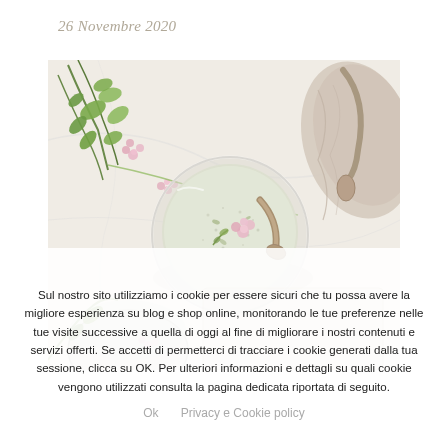26 Novembre 2020
[Figure (photo): Overhead flat-lay photo of a glass bowl filled with herb salt garnished with small pink flowers and a vintage spoon, surrounded by fresh herbs and flowers on a white marble surface with a linen napkin in the background.]
Sul nostro sito utilizziamo i cookie per essere sicuri che tu possa avere la migliore esperienza su blog e shop online, monitorando le tue preferenze nelle tue visite successive a quella di oggi al fine di migliorare i nostri contenuti e servizi offerti. Se accetti di permetterci di tracciare i cookie generati dalla tua sessione, clicca su OK. Per ulteriori informazioni e dettagli su quali cookie vengono utilizzati consulta la pagina dedicata riportata di seguito.
Ok   Privacy e Cookie policy